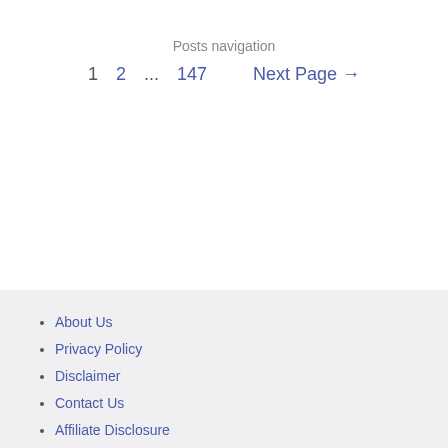Posts navigation
1  2  ...  147  Next Page →
About Us
Privacy Policy
Disclaimer
Contact Us
Affiliate Disclosure